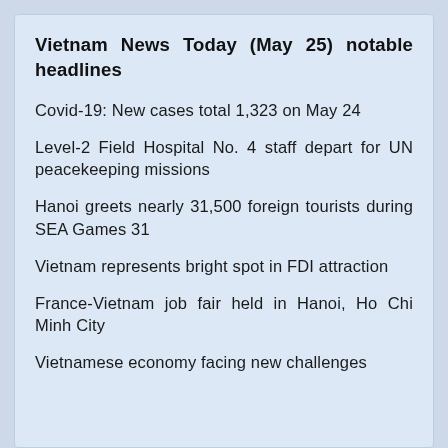Vietnam News Today (May 25) notable headlines
Covid-19: New cases total 1,323 on May 24
Level-2 Field Hospital No. 4 staff depart for UN peacekeeping missions
Hanoi greets nearly 31,500 foreign tourists during SEA Games 31
Vietnam represents bright spot in FDI attraction
France-Vietnam job fair held in Hanoi, Ho Chi Minh City
Vietnamese economy facing new challenges